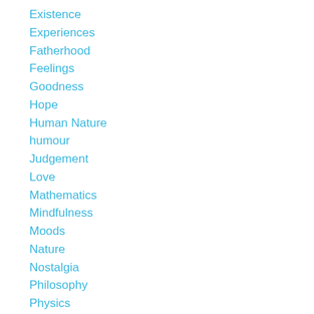Existence
Experiences
Fatherhood
Feelings
Goodness
Hope
Human Nature
humour
Judgement
Love
Mathematics
Mindfulness
Moods
Nature
Nostalgia
Philosophy
Physics
Poetry
Politics
Prejudice